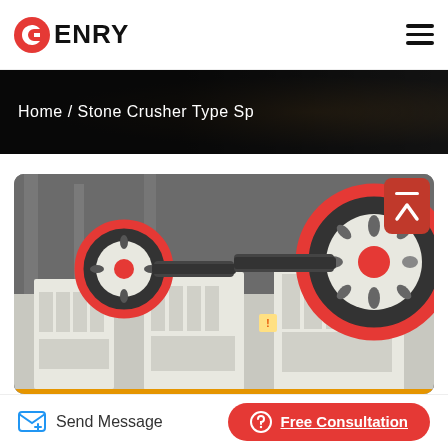[Figure (logo): GENRY company logo with red G icon on left and bold GENRY text]
Home / Stone Crusher Type Sp
[Figure (photo): Industrial stone crusher machines with large red and black flywheels mounted on white frames inside a factory]
Send Message
Free Consultation